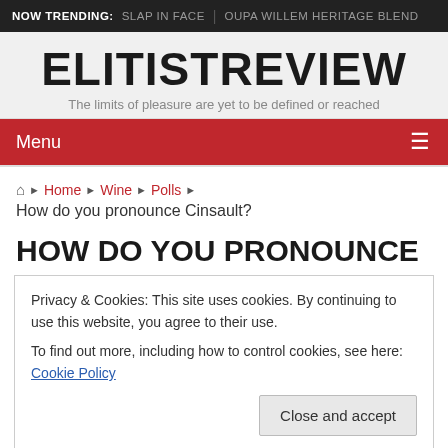NOW TRENDING: SLAP IN FACE | OUPA WILLEM HERITAGE BLEND
ELITISTREVIEW
The limits of pleasure are yet to be defined or reached
Menu ≡
Home › Wine › Polls › How do you pronounce Cinsault?
HOW DO YOU PRONOUNCE
Privacy & Cookies: This site uses cookies. By continuing to use this website, you agree to their use.
To find out more, including how to control cookies, see here: Cookie Policy
Close and accept
Since I have been drinking infinitely more of the stuff